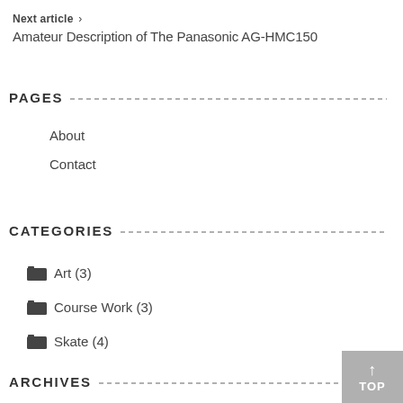Next article >
Amateur Description of The Panasonic AG-HMC150
PAGES
About
Contact
CATEGORIES
Art (3)
Course Work (3)
Skate (4)
ARCHIVES